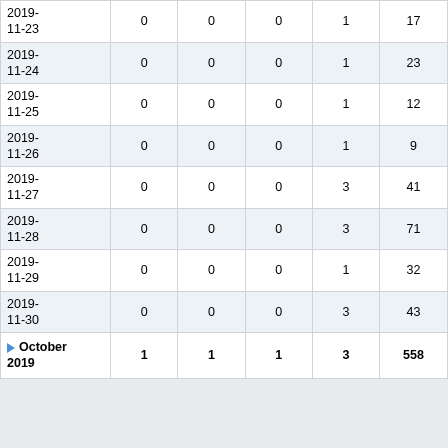| Date | Col1 | Col2 | Col3 | Col4 | Col5 |
| --- | --- | --- | --- | --- | --- |
| 2019-11-23 | 0 | 0 | 0 | 1 | 17 |
| 2019-11-24 | 0 | 0 | 0 | 1 | 23 |
| 2019-11-25 | 0 | 0 | 0 | 1 | 12 |
| 2019-11-26 | 0 | 0 | 0 | 1 | 9 |
| 2019-11-27 | 0 | 0 | 0 | 3 | 41 |
| 2019-11-28 | 0 | 0 | 0 | 3 | 71 |
| 2019-11-29 | 0 | 0 | 0 | 1 | 32 |
| 2019-11-30 | 0 | 0 | 0 | 3 | 43 |
| October 2019 | 1 | 1 | 1 | 3 | 558 |